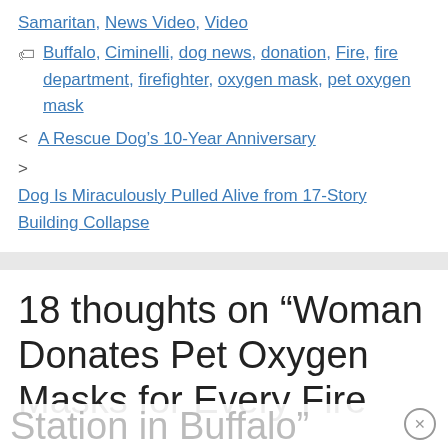Samaritan, News Video, Video
Buffalo, Ciminelli, dog news, donation, Fire, fire department, firefighter, oxygen mask, pet oxygen mask
< A Rescue Dog's 10-Year Anniversary
> Dog Is Miraculously Pulled Alive from 17-Story Building Collapse
18 thoughts on “Woman Donates Pet Oxygen Masks for Every Fire Station in Buffalo”